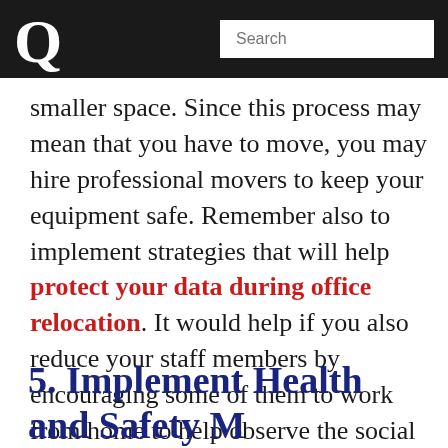Q  Search
smaller space. Since this process may mean that you have to move, you may hire professional movers to keep your equipment safe. Remember also to implement strategies that will help protect your data during office relocation. It would help if you also reduce your staff members by encouraging some of them to work from home to help observe the social distancing guideline imposed over coronavirus.
5. Implement Health and Safety M...